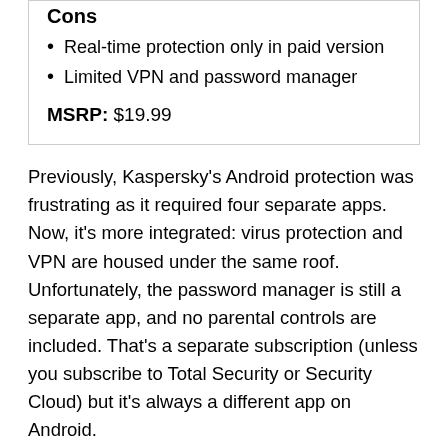Cons
Real-time protection only in paid version
Limited VPN and password manager
MSRP: $19.99
Previously, Kaspersky’s Android protection was frustrating as it required four separate apps. Now, it’s more integrated: virus protection and VPN are housed under the same roof. Unfortunately, the password manager is still a separate app, and no parental controls are included. That’s a separate subscription (unless you subscribe to Total Security or Security Cloud) but it’s always a different app on Android.
Like Bitdefender, there are both paid and free versions. Only with Kaspersky, both use the same